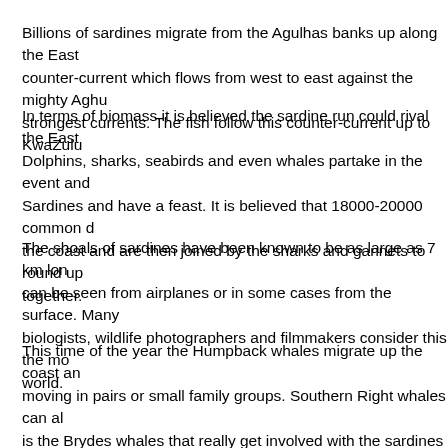Billions of sardines migrate from the Agulhas banks up along the East coast following a counter-current which flows from west to east against the mighty Aghu... strongest currents. The fish follow this counter-current up to KwaZulu...
In terms of biomass it is believed the sardine run could rival the East A... Dolphins, sharks, seabirds and even whales partake in the event and... Sardines and have a feast. It is believed that 18000-20000 common d... the coast and are then joined by the sharks and gannets to round up ... together.
The shoals of sardines have been known to be as large as 7 km long... can be seen from airplanes or in some cases from the surface. Many... biologists, wildlife photographers and filmmakers consider this the mo... world.
This time of the year the Humpback whales migrate up the coast and... moving in pairs or small family groups. Southern Right whales can als... is the Brydes whales that really get involved with the sardines and its... witness a lunging Brydes whale destroying a baitball in a single mout...
Buccaneers Lodge
We base ourselves in Cintsa near East London and launch our boats... sea conditions permitting. On bigger swells, we divert to the East Lo...